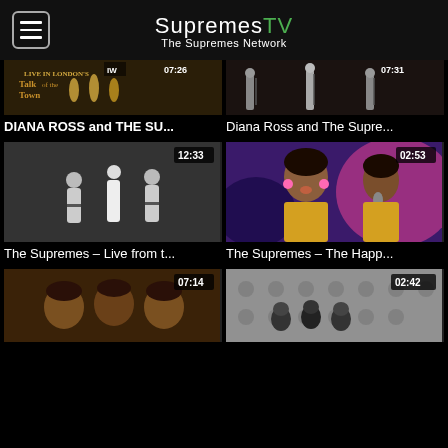SupremesTV – The Supremes Network
[Figure (screenshot): Video thumbnail: DIANA ROSS and THE SU... – Talk of the Town album cover, duration 07:26]
DIANA ROSS and THE SU...
[Figure (screenshot): Video thumbnail: Diana Ross and The Supre... – three women on stage in white gowns, duration 07:31]
Diana Ross and The Supre...
[Figure (screenshot): Video thumbnail: The Supremes – Live from t... – black and white performance photo, duration 12:33]
The Supremes – Live from t...
[Figure (screenshot): Video thumbnail: The Supremes – The Happ... – two women performing in colorful setting, duration 02:53]
The Supremes – The Happ...
[Figure (screenshot): Video thumbnail: partial view, duration 07:14]
[Figure (screenshot): Video thumbnail: partial view, duration 02:42]